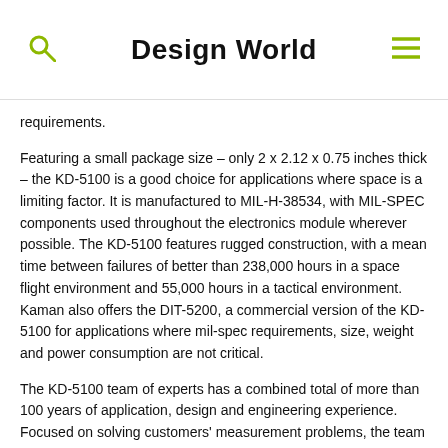Design World
requirements.
Featuring a small package size – only 2 x 2.12 x 0.75 inches thick – the KD-5100 is a good choice for applications where space is a limiting factor. It is manufactured to MIL-H-38534, with MIL-SPEC components used throughout the electronics module wherever possible. The KD-5100 features rugged construction, with a mean time between failures of better than 238,000 hours in a space flight environment and 55,000 hours in a tactical environment. Kaman also offers the DIT-5200, a commercial version of the KD-5100 for applications where mil-spec requirements, size, weight and power consumption are not critical.
The KD-5100 team of experts has a combined total of more than 100 years of application, design and engineering experience. Focused on solving customers' measurement problems, the team is backed by an established resource company that has been